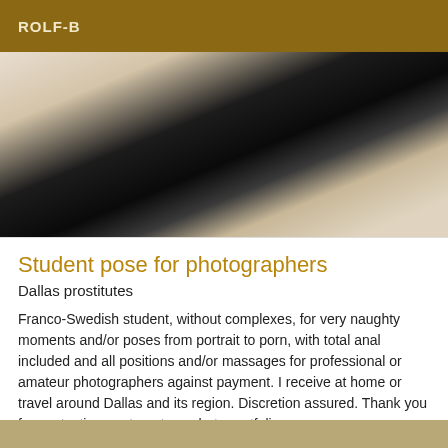ROLF-B
[Figure (photo): Photo of a person lying on a bed wearing black shorts, legs visible, white pillow in background]
Student pose for photographers
Dallas prostitutes
Franco-Swedish student, without complexes, for very naughty moments and/or poses from portrait to porn, with total anal included and all positions and/or massages for professional or amateur photographers against payment. I receive at home or travel around Dallas and its region. Discretion assured. Thank you for contacting me to get my photo portfolio.